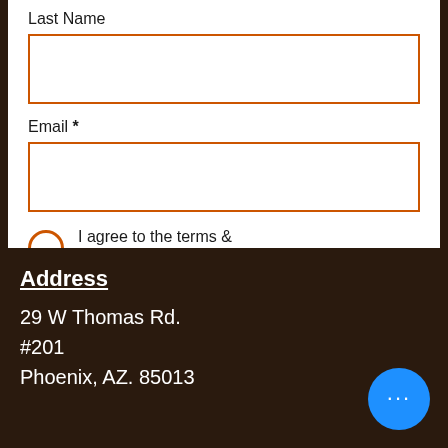Last Name
[Figure (other): Empty input text box with orange border for Last Name]
Email *
[Figure (other): Empty input text box with orange border for Email]
I agree to the terms & conditions
Subscribe
Address
29 W Thomas Rd.
#201
Phoenix, AZ. 85013